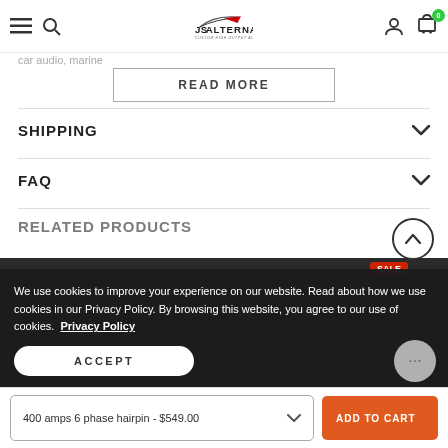JS Alternators - Custom High Output Alternators
car audio, marine
READ MORE
SHIPPING
FAQ
RELATED PRODUCTS
We use cookies to improve your experience on our website. Read about how we use cookies in our Privacy Policy. By browsing this website, you agree to our use of cookies. Privacy Policy
ACCEPT
400 amps 6 phase hairpin - $549.00
ADD TO CART